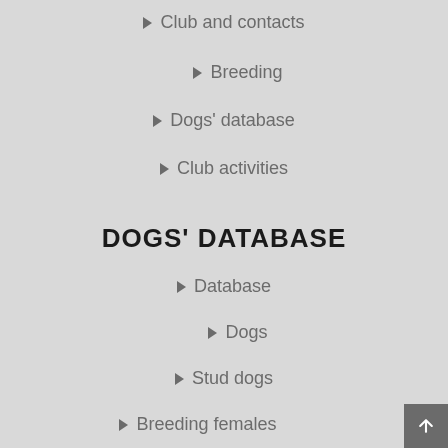Club and contacts
Breeding
Dogs' database
Club activities
DOGS' DATABASE
Database
Dogs
Stud dogs
Breeding females
Kennels
Mating reguests
Puppies